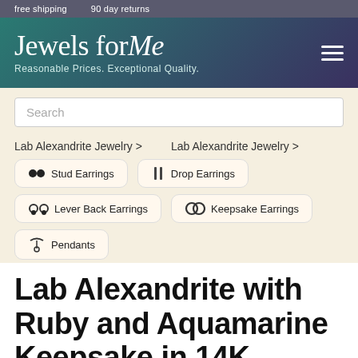free shipping   90 day returns
Jewels for Me
Reasonable Prices. Exceptional Quality.
Search
Lab Alexandrite Jewelry >
Lab Alexandrite Jewelry >
Stud Earrings
Drop Earrings
Lever Back Earrings
Keepsake Earrings
Pendants
Lab Alexandrite with Ruby and Aquamarine Keepsake in 14K